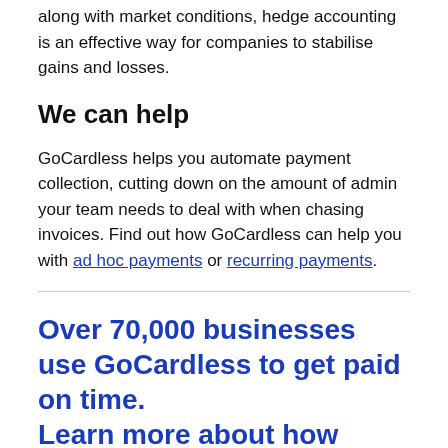along with market conditions, hedge accounting is an effective way for companies to stabilise gains and losses.
We can help
GoCardless helps you automate payment collection, cutting down on the amount of admin your team needs to deal with when chasing invoices. Find out how GoCardless can help you with ad hoc payments or recurring payments.
Over 70,000 businesses use GoCardless to get paid on time. Learn more about how...